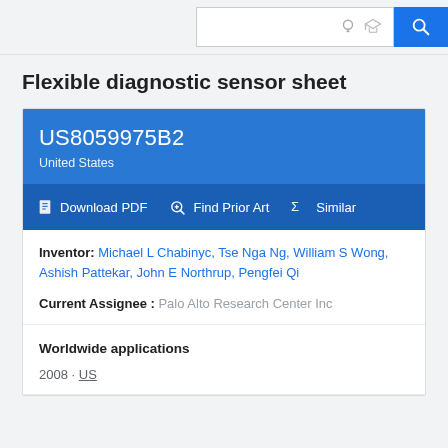Search bar with bulb icon, graduation cap icon, and search button
Flexible diagnostic sensor sheet
US8059975B2
United States
Download PDF   Find Prior Art   Similar
Inventor: Michael L Chabinyc, Tse Nga Ng, William S Wong, Ashish Pattekar, John E Northrup, Pengfei Qi
Current Assignee : Palo Alto Research Center Inc
Worldwide applications
2008 · US